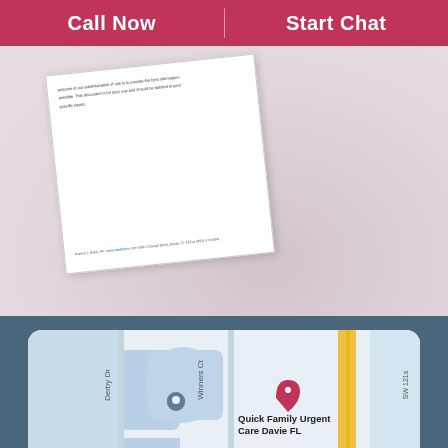Call Now
Start Chat
[Figure (photo): Hands holding a document/prescription with faded background; a tilted white document overlay showing small text about providing information tailored to specific needs, with a footer line containing a name, website, address in Davie FL.]
[Figure (map): Google Maps screenshot showing Quick Family Urgent Care Davie FL location with streets Derby Dr, Winners Ct, and SW 121st Ave visible, with a location pin marker.]